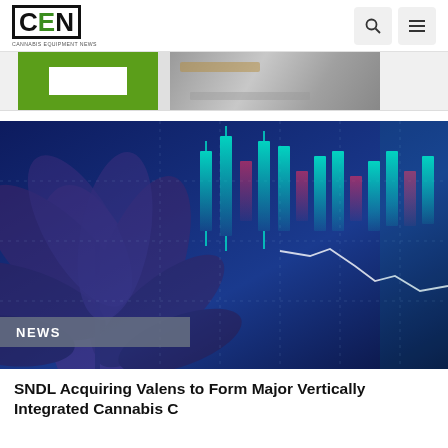CEN Cannabis Equipment News
[Figure (photo): Banner advertisement strip showing green background with white box and metal/industrial equipment on right side]
[Figure (photo): Hero image showing cannabis/marijuana leaf silhouette overlaid with blue-toned stock market candlestick chart with line graph and grid lines]
NEWS
SNDL Acquiring Valens to Form Major Vertically Integrated Cannabis C...